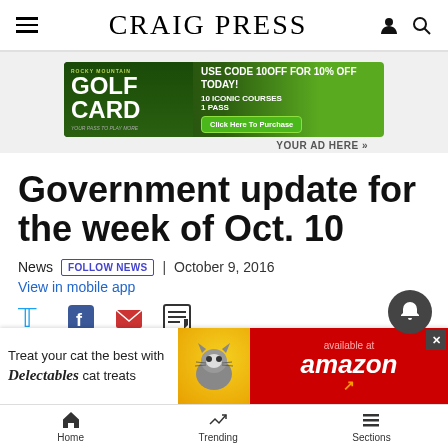Craig Press
[Figure (other): Rocky Mountain Golf Card advertisement: USE CODE 10OFF FOR 10% OFF TODAY! 10 ICONIC COURSES 1 PASS - Click Here To Purchase]
YOUR AD HERE »
Government update for the week of Oct. 10
News | FOLLOW NEWS | October 9, 2016
View in mobile app
[Figure (other): Social sharing icons: Twitter, Facebook, Email, Print]
[Figure (other): Bottom advertisement: Treat your cat the best with Delectables cat treats - available at amazon]
Home | Trending | Sections